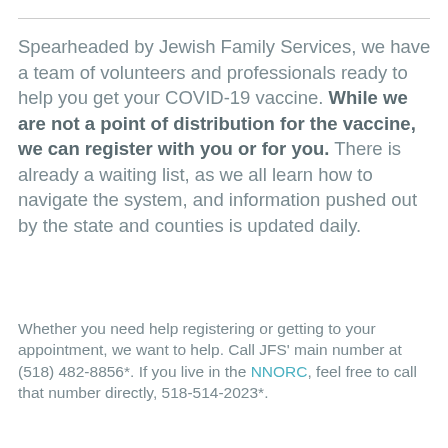Spearheaded by Jewish Family Services, we have a team of volunteers and professionals ready to help you get your COVID-19 vaccine. While we are not a point of distribution for the vaccine, we can register with you or for you. There is already a waiting list, as we all learn how to navigate the system, and information pushed out by the state and counties is updated daily.
Whether you need help registering or getting to your appointment, we want to help. Call JFS' main number at (518) 482-8856*. If you live in the NNORC, feel free to call that number directly, 518-514-2023*.